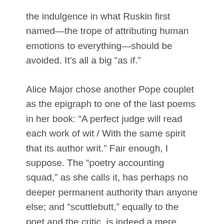the indulgence in what Ruskin first named—the trope of attributing human emotions to everything—should be avoided. It's all a big “as if.”
Alice Major chose another Pope couplet as the epigraph to one of the last poems in her book: “A perfect judge will read each work of wit / With the same spirit that its author writ.” Fair enough, I suppose. The “poetry accounting squad,” as she calls it, has perhaps no deeper permanent authority than anyone else; and “scuttlebutt,” equally to the poet and the critic, is indeed a mere distraction. But the poem is the proof of whether opinion means anything at all. I’m just not sure that the subject